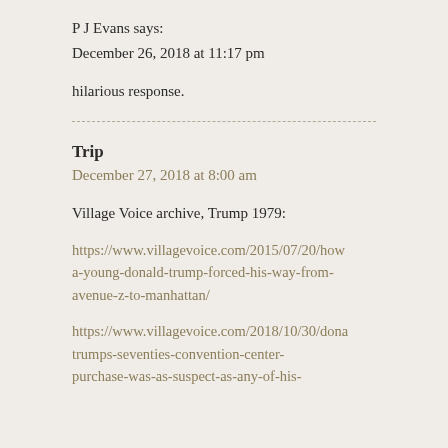P J Evans says:
December 26, 2018 at 11:17 pm
hilarious response.
Trip
December 27, 2018 at 8:00 am
Village Voice archive, Trump 1979:
https://www.villagevoice.com/2015/07/20/how-a-young-donald-trump-forced-his-way-from-avenue-z-to-manhattan/
https://www.villagevoice.com/2018/10/30/dona-trumps-seventies-convention-center-purchase-was-as-suspect-as-any-of-his-